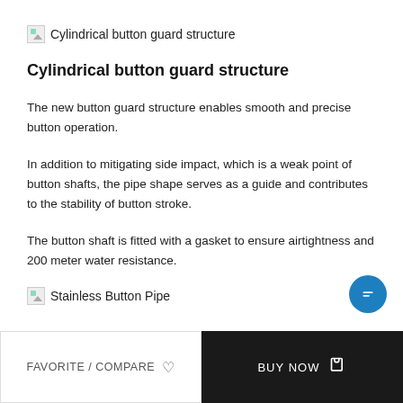Cylindrical button guard structure
Cylindrical button guard structure
The new button guard structure enables smooth and precise button operation.
In addition to mitigating side impact, which is a weak point of button shafts, the pipe shape serves as a guide and contributes to the stability of button stroke.
The button shaft is fitted with a gasket to ensure airtightness and 200 meter water resistance.
Stainless Button Pipe
FAVORITE / COMPARE   BUY NOW